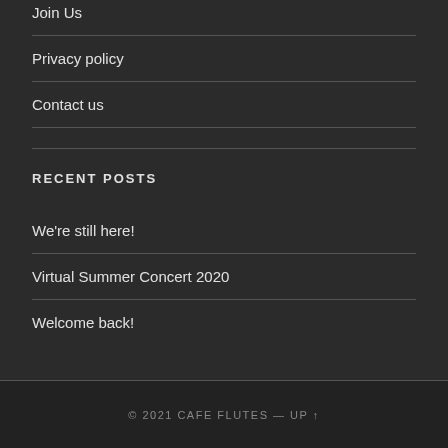Join Us
Privacy policy
Contact us
RECENT POSTS
We're still here!
Virtual Summer Concert 2020
Welcome back!
© 2021 CAFE FLUTES — UP ↑